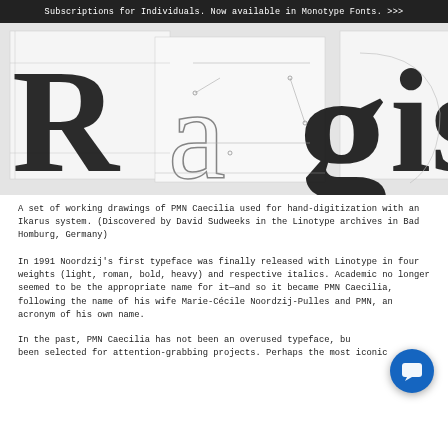Subscriptions for Individuals. Now available in Monotype Fonts. >>>
[Figure (photo): Large letterforms R, a, g, and partial 'is' showing working drawings/digitization outlines of PMN Caecilia typeface on white/gray background with grid lines visible]
A set of working drawings of PMN Caecilia used for hand-digitization with an Ikarus system. (Discovered by David Sudweeks in the Linotype archives in Bad Homburg, Germany)
In 1991 Noordzij's first typeface was finally released with Linotype in four weights (light, roman, bold, heavy) and respective italics. Academic no longer seemed to be the appropriate name for it—and so it became PMN Caecilia, following the name of his wife Marie-Cécile Noordzij-Pulles and PMN, an acronym of his own name.
In the past, PMN Caecilia has not been an overused typeface, but has been selected for attention-grabbing projects. Perhaps the most iconic